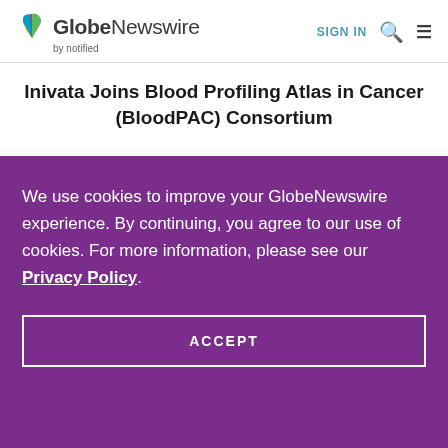GlobeNewswire by notified — SIGN IN
Inivata Joins Blood Profiling Atlas in Cancer (BloodPAC) Consortium
We use cookies to improve your GlobeNewswire experience. By continuing, you agree to our use of cookies. For more information, please see our Privacy Policy.
ACCEPT